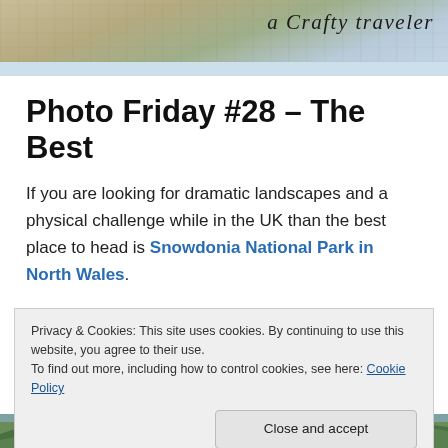A Crafty Traveler
Photo Friday #28 – The Best
If you are looking for dramatic landscapes and a physical challenge while in the UK than the best place to head is Snowdonia National Park in North Wales.
Mount Snowdon, the highest mountain in Wales, absolutely dominates the local landscape and offers a formidable challenge to all those who attempt to scale its
Privacy & Cookies: This site uses cookies. By continuing to use this website, you agree to their use.
To find out more, including how to control cookies, see here: Cookie Policy
[Figure (photo): Landscape photo strip at the bottom showing green hills/mountains in Wales]